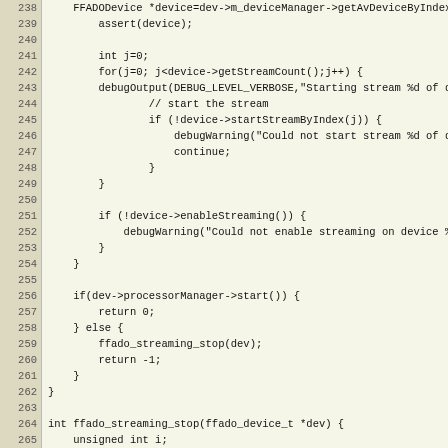[Figure (screenshot): Source code listing in C/C++ with line numbers 238-266, showing device streaming control code including FFADODevice, assert, getStreamCount, debugOutput, startStreamByIndex, debugWarning, continue, enableStreaming, processorManager->start(), ffado_streaming_stop functions.]